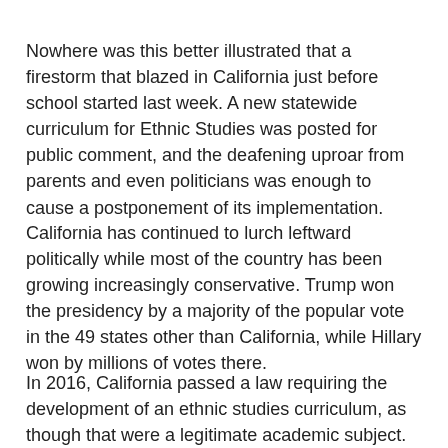Nowhere was this better illustrated that a firestorm that blazed in California just before school started last week. A new statewide curriculum for Ethnic Studies was posted for public comment, and the deafening uproar from parents and even politicians was enough to cause a postponement of its implementation.
California has continued to lurch leftward politically while most of the country has been growing increasingly conservative. Trump won the presidency by a majority of the popular vote in the 49 states other than California, while Hillary won by millions of votes there.
In 2016, California passed a law requiring the development of an ethnic studies curriculum, as though that were a legitimate academic subject. The curriculum is required to “include information on the ethnic studies movement, specifically the Third World Liberation Front (TWLF), and its significance in the establishment of ethnic studies as a discipline and work in promoting diversity and inclusion within higher education.”